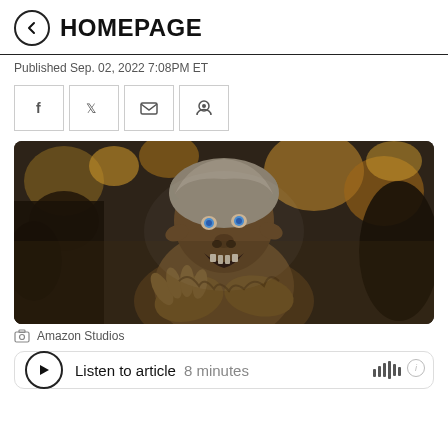HOMEPAGE
Published Sep. 02, 2022 7:08PM ET
[Figure (photo): A CGI creature (troll/orc) with blue eyes, open mouth showing teeth, wearing a rough hood, reaching forward with clawed hands. Background shows blurred warm golden and dark tones. Still from Amazon Studios production.]
Amazon Studios
Listen to article  8 minutes